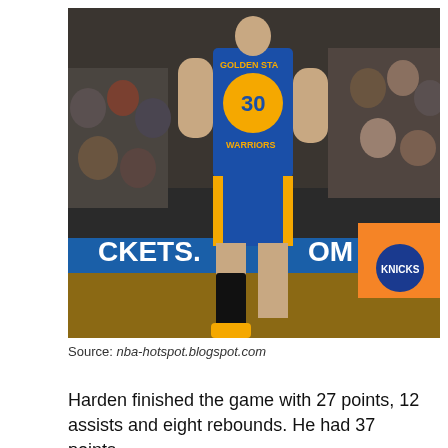[Figure (photo): A Golden State Warriors basketball player wearing jersey number 30 running/jumping on a court at Madison Square Garden, with New York Knicks signage visible in the background along with a crowd of spectators.]
Source: nba-hotspot.blogspot.com
Harden finished the game with 27 points, 12 assists and eight rebounds. He had 37 points